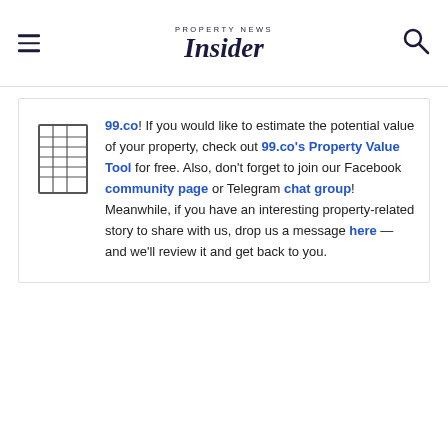PROPERTY NEWS Insider
99.co! If you would like to estimate the potential value of your property, check out 99.co's Property Value Tool for free. Also, don't forget to join our Facebook community page or Telegram chat group! Meanwhile, if you have an interesting property-related story to share with us, drop us a message here — and we'll review it and get back to you.